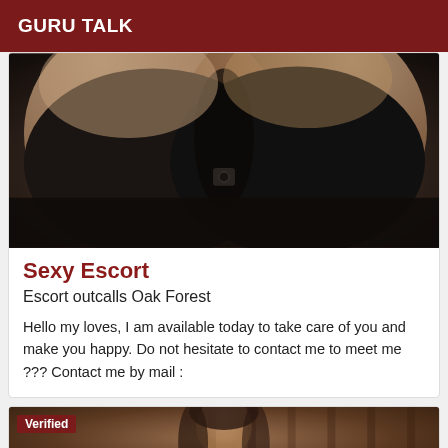GURU TALK
[Figure (photo): Close-up photo of a person wearing a black bra, cropped to show chest area only]
Sexy Escort
Escort outcalls Oak Forest
Hello my loves, I am available today to take care of you and make you happy. Do not hesitate to contact me to meet me ??? Contact me by mail :
[Figure (photo): Photo of a woman with long dark hair, with a 'Verified' badge overlay in the top-left corner]